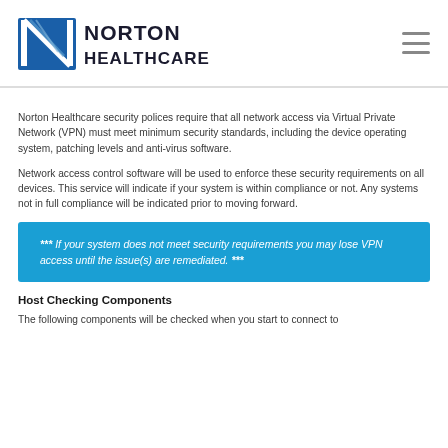Norton Healthcare
Norton Healthcare security polices require that all network access via Virtual Private Network (VPN) must meet minimum security standards, including the device operating system, patching levels and anti-virus software.
Network access control software will be used to enforce these security requirements on all devices. This service will indicate if your system is within compliance or not. Any systems not in full compliance will be indicated prior to moving forward.
*** If your system does not meet security requirements you may lose VPN access until the issue(s) are remediated. ***
Host Checking Components
The following components will be checked when you start to connect to